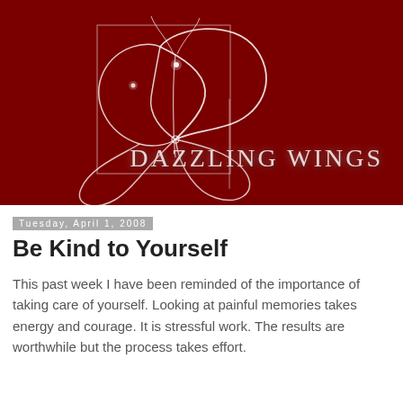[Figure (logo): Dazzling Wings logo — dark red/maroon background with a white line-art butterfly and the text 'DAZZLING WINGS' in serif letters on the right side]
Tuesday, April 1, 2008
Be Kind to Yourself
This past week I have been reminded of the importance of taking care of yourself. Looking at painful memories takes energy and courage. It is stressful work. The results are worthwhile but the process takes effort.